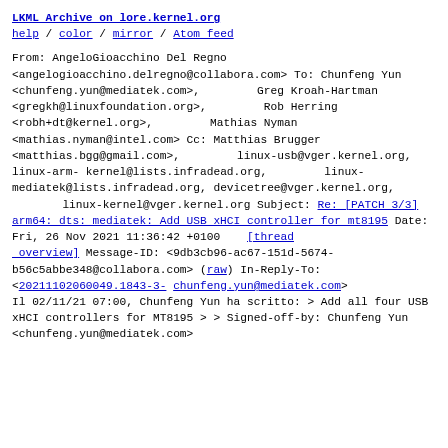LKML Archive on lore.kernel.org
help / color / mirror / Atom feed
From: AngeloGioacchino Del Regno <angelogioacchino.delregno@collabora.com>
To: Chunfeng Yun <chunfeng.yun@mediatek.com>,
        Greg Kroah-Hartman <gregkh@linuxfoundation.org>,
        Rob Herring <robh+dt@kernel.org>,
        Mathias Nyman <mathias.nyman@intel.com>
Cc: Matthias Brugger <matthias.bgg@gmail.com>,
        linux-usb@vger.kernel.org, linux-arm-kernel@lists.infradead.org,
        linux-mediatek@lists.infradead.org,
        devicetree@vger.kernel.org,
        linux-kernel@vger.kernel.org
Subject: Re: [PATCH 3/3] arm64: dts: mediatek: Add USB xHCI controller for mt8195
Date: Fri, 26 Nov 2021 11:36:42 +0100    [thread overview]
Message-ID: <9db3cb96-ac67-151d-5674-b56c5abbe348@collabora.com> (raw)
In-Reply-To: <20211102060049.1843-3-chunfeng.yun@mediatek.com>

Il 02/11/21 07:00, Chunfeng Yun ha scritto:
> Add all four USB xHCI controllers for MT8195
>
> Signed-off-by: Chunfeng Yun
<chunfeng.yun@mediatek.com>